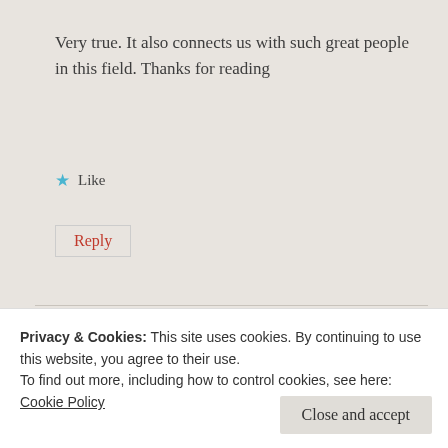Very true. It also connects us with such great people in this field. Thanks for reading
★ Like
Reply
Inderpreet
December 6, 2018 at 12:18 pm
Privacy & Cookies: This site uses cookies. By continuing to use this website, you agree to their use.
To find out more, including how to control cookies, see here:
Cookie Policy
Close and accept